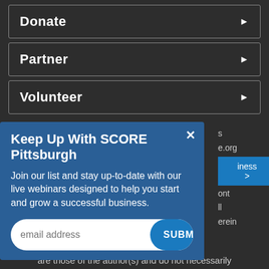Donate ▶
Partner ▶
Volunteer ▶
Keep Up With SCORE Pittsburgh
Join our list and stay up-to-date with our live webinars designed to help you start and grow a successful business.
email address  SUBMIT
are those of the author(s) and do not necessarily reflect the views of the SBA.
gtag('config', 'AW-411442676');